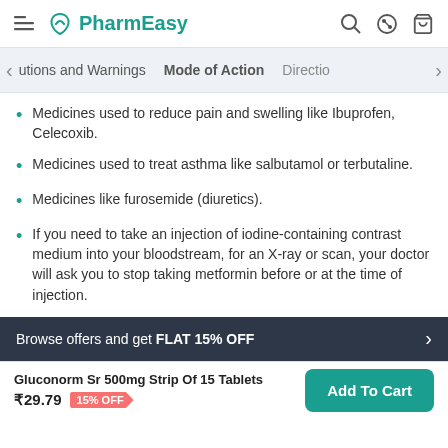PharmEasy
utions and Warnings | Mode of Action | Directio
Medicines used to reduce pain and swelling like Ibuprofen, Celecoxib.
Medicines used to treat asthma like salbutamol or terbutaline.
Medicines like furosemide (diuretics).
If you need to take an injection of iodine-containing contrast medium into your bloodstream, for an X-ray or scan, your doctor will ask you to stop taking metformin before or at the time of injection.
Browse offers and get FLAT 15% OFF
Gluconorm Sr 500mg Strip Of 15 Tablets ₹29.79 15% OFF Add To Cart